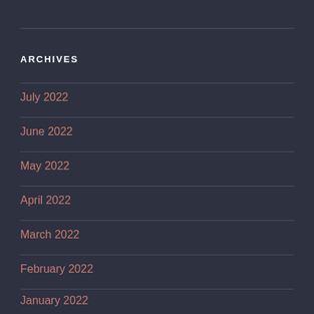ARCHIVES
July 2022
June 2022
May 2022
April 2022
March 2022
February 2022
January 2022
December 2021